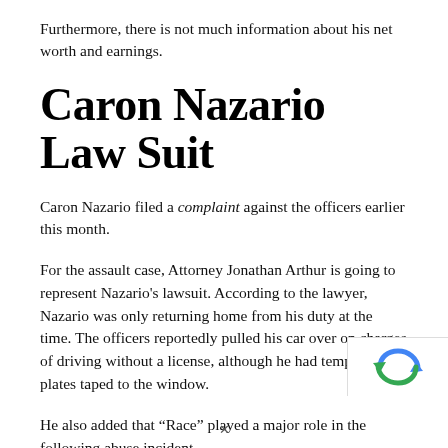Furthermore, there is not much information about his net worth and earnings.
Caron Nazario Law Suit
Caron Nazario filed a complaint against the officers earlier this month.
For the assault case, Attorney Jonathan Arthur is going to represent Nazario’s lawsuit. According to the lawyer, Nazario was only returning home from his duty at the time. The officers reportedly pulled his car over on charges of driving without a license, although he had temporary plates taped to the window.
He also added that “Race” played a major role in the following abuse incident.